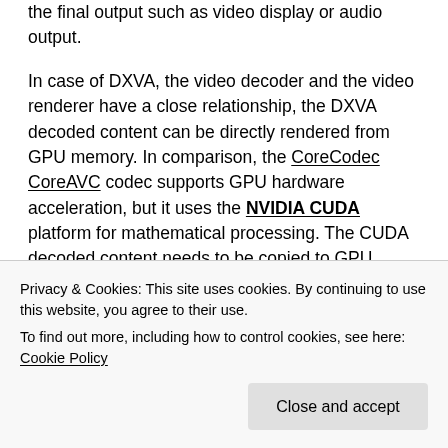Lastly there are the Renderers, the Renderer produces the final output such as video display or audio output.
In case of DXVA, the video decoder and the video renderer have a close relationship, the DXVA decoded content can be directly rendered from GPU memory. In comparison, the CoreCodec CoreAVC codec supports GPU hardware acceleration, but it uses the NVIDIA CUDA platform for mathematical processing. The CUDA decoded content needs to be copied to GPU memory, resulting in higher CPU utilization.
An easy way to visualize the stream flow is to use
Privacy & Cookies: This site uses cookies. By continuing to use this website, you agree to their use.
To find out more, including how to control cookies, see here: Cookie Policy
test again. I started by using the K-Lite Codec Pack. But, I